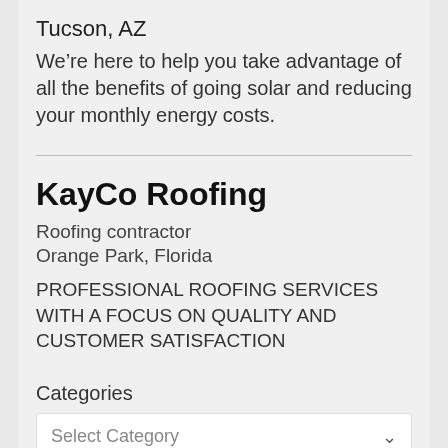Tucson, AZ
We're here to help you take advantage of all the benefits of going solar and reducing your monthly energy costs.
KayCo Roofing
Roofing contractor
Orange Park, Florida
PROFESSIONAL ROOFING SERVICES WITH A FOCUS ON QUALITY AND CUSTOMER SATISFACTION
Categories
Select Category